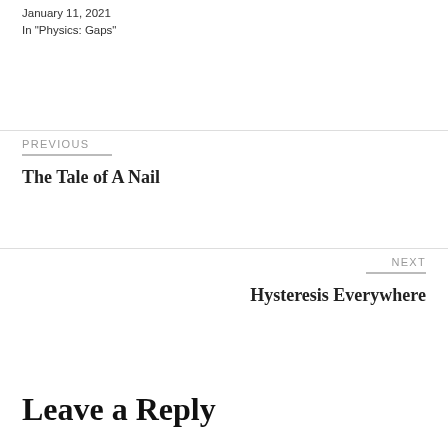January 11, 2021
In "Physics: Gaps"
PREVIOUS
The Tale of A Nail
NEXT
Hysteresis Everywhere
Leave a Reply